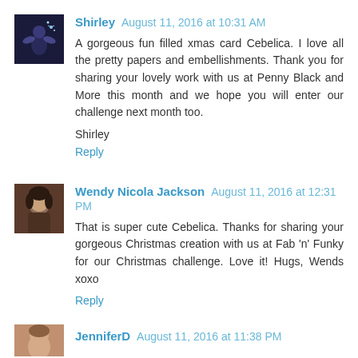Shirley August 11, 2016 at 10:31 AM
A gorgeous fun filled xmas card Cebelica. I love all the pretty papers and embellishments. Thank you for sharing your lovely work with us at Penny Black and More this month and we hope you will enter our challenge next month too.
Shirley
Reply
Wendy Nicola Jackson August 11, 2016 at 12:31 PM
That is super cute Cebelica. Thanks for sharing your gorgeous Christmas creation with us at Fab 'n' Funky for our Christmas challenge. Love it! Hugs, Wends xoxo
Reply
JenniferD August 11, 2016 at 11:38 PM